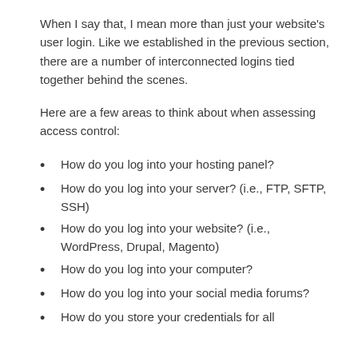When I say that, I mean more than just your website's user login. Like we established in the previous section, there are a number of interconnected logins tied together behind the scenes.
Here are a few areas to think about when assessing access control:
How do you log into your hosting panel?
How do you log into your server? (i.e., FTP, SFTP, SSH)
How do you log into your website? (i.e., WordPress, Drupal, Magento)
How do you log into your computer?
How do you log into your social media forums?
How do you store your credentials for all